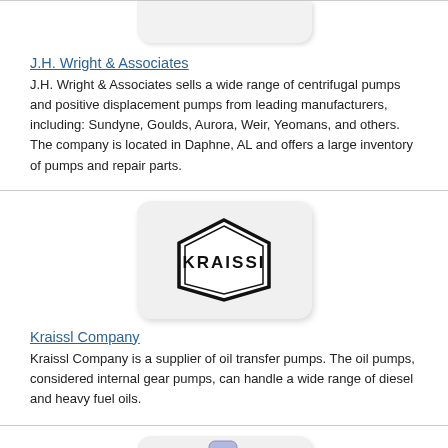[Figure (logo): J.H. Wright & Associates logo - partial view at top of page]
J.H. Wright & Associates
J.H. Wright & Associates sells a wide range of centrifugal pumps and positive displacement pumps from leading manufacturers, including: Sundyne, Goulds, Aurora, Weir, Yeomans, and others. The company is located in Daphne, AL and offers a large inventory of pumps and repair parts.
[Figure (logo): Kraissl Company logo - hexagonal badge with KRAISSL text]
Kraissl Company
Kraissl Company is a supplier of oil transfer pumps. The oil pumps, considered internal gear pumps, can handle a wide range of diesel and heavy fuel oils.
[Figure (logo): Third company logo - partial view at bottom of page, appears to show a blue/purple product image]